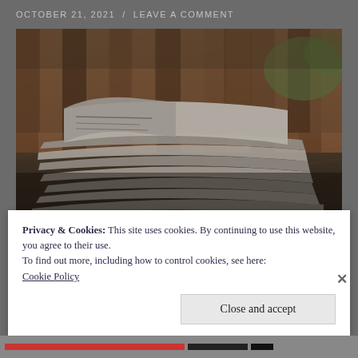OCTOBER 21, 2021  /  LEAVE A COMMENT
[Figure (photo): Stack of folded newspapers on a dark surface, with wooden slats visible in the blurred background]
Privacy & Cookies: This site uses cookies. By continuing to use this website, you agree to their use.
To find out more, including how to control cookies, see here:
Cookie Policy
Close and accept